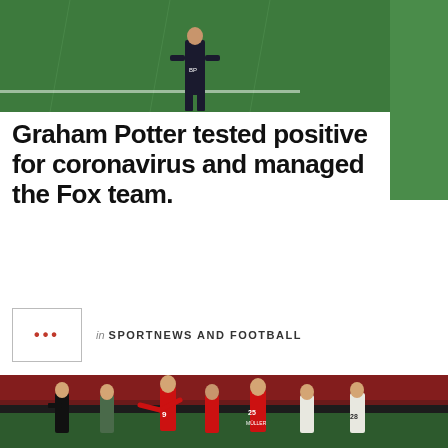[Figure (photo): Graham Potter standing on a football pitch sideline, wearing dark coaching attire, seen from behind/side, green grass visible]
Graham Potter tested positive for coronavirus and managed the Fox team.
in SPORTNEWS AND FOOTBALL
[Figure (photo): Football match scene showing Bayern Munich players in red jerseys (including Müller #25 and player #9) in a confrontation with referee and Borussia Mönchengladbach players in white/green, inside stadium with red seats]